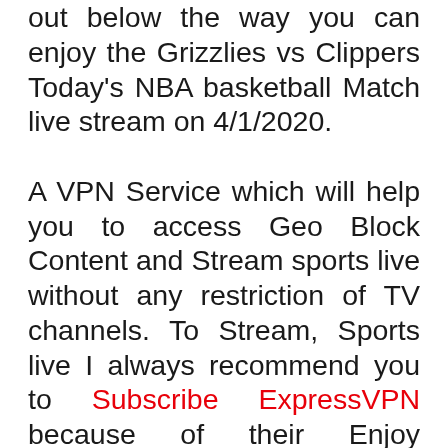out below the way you can enjoy the Grizzlies vs Clippers Today's NBA basketball Match live stream on 4/1/2020.

A VPN Service which will help you to access Geo Block Content and Stream sports live without any restriction of TV channels. To Stream, Sports live I always recommend you to Subscribe ExpressVPN because of their Enjoy unrestricted access worldwide features, Fast Server, Easy Setup on almost all device, 24/7 Hour customer support with live chat along with 30 days money back Guarantee.